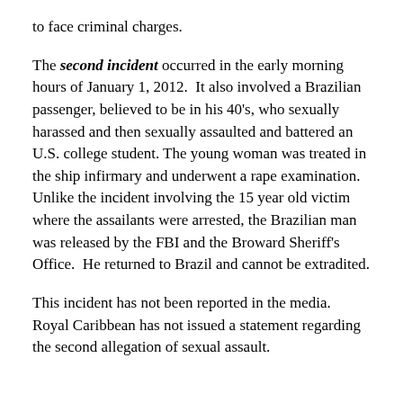to face criminal charges.
The second incident occurred in the early morning hours of January 1, 2012.  It also involved a Brazilian passenger, believed to be in his 40's, who sexually harassed and then sexually assaulted and battered an U.S. college student. The young woman was treated in the ship infirmary and underwent a rape examination.  Unlike the incident involving the 15 year old victim where the assailants were arrested, the Brazilian man was released by the FBI and the Broward Sheriff's Office.  He returned to Brazil and cannot be extradited.
This incident has not been reported in the media.  Royal Caribbean has not issued a statement regarding the second allegation of sexual assault.